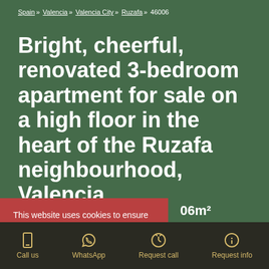Spain » Valencia » Valencia City » Ruzafa » 46006
Bright, cheerful, renovated 3-bedroom apartment for sale on a high floor in the heart of the Ruzafa neighbourhood, Valencia
This website uses cookies to ensure you get the best experience on our website. View privacy policy
06m² floorplan
Call us  WhatsApp  Request call  Request info